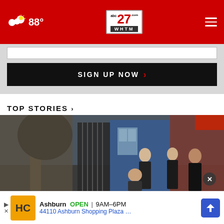abc27 WHTM.com — 88° weather — navigation header
[Figure (screenshot): Black input bar area for email signup form]
SIGN UP NOW ›
TOP STORIES ›
[Figure (photo): News photo showing several men in dark suits standing outside a building with a blue door and iron gate, with a tree in the foreground]
[Figure (screenshot): Advertisement banner: Ashburn OPEN 9AM–6PM, 44110 Ashburn Shopping Plaza …, with HC logo and navigation arrow icon]